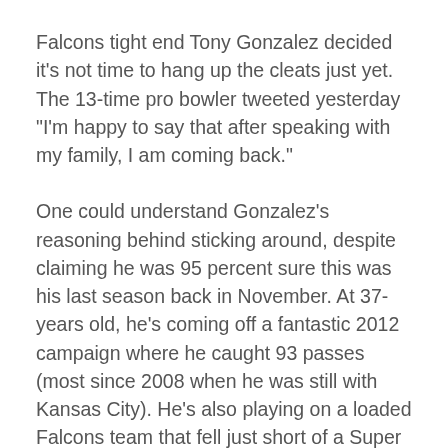Falcons tight end Tony Gonzalez decided it's not time to hang up the cleats just yet. The 13-time pro bowler tweeted yesterday "I'm happy to say that after speaking with my family, I am coming back."
One could understand Gonzalez's reasoning behind sticking around, despite claiming he was 95 percent sure this was his last season back in November. At 37-years old, he's coming off a fantastic 2012 campaign where he caught 93 passes (most since 2008 when he was still with Kansas City). He's also playing on a loaded Falcons team that fell just short of a Super Bowl berth after his team blew a 17-point lead to San Francisco in the NFC championship game. Gonzalez also finally won his first playoff game in his sixth postseason appearance when the Falcons defeated the Seattle Seahawks in the NFC